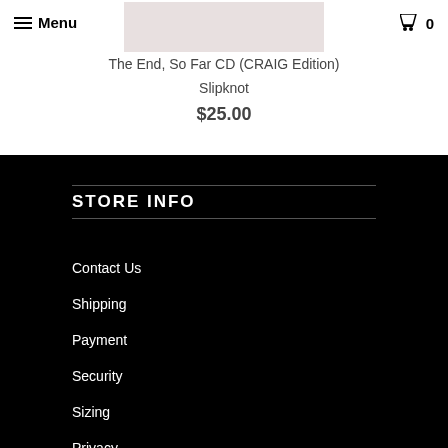≡ Menu    🛒 0
[Figure (photo): Product image thumbnail for The End, So Far CD (CRAIG Edition) by Slipknot — light pinkish-gray rectangular image]
The End, So Far CD (CRAIG Edition)
Slipknot
$25.00
STORE INFO
Contact Us
Shipping
Payment
Security
Sizing
Privacy
Terms of Use